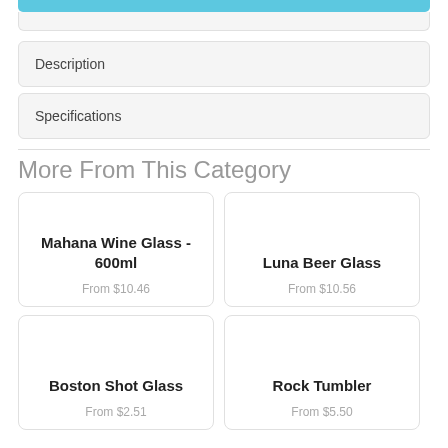Description
Specifications
More From This Category
Mahana Wine Glass - 600ml
From $10.46
Luna Beer Glass
From $10.56
Boston Shot Glass
From $2.51
Rock Tumbler
From $5.50